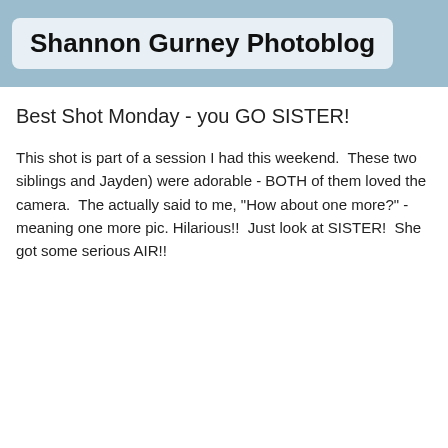Shannon Gurney Photoblog
Best Shot Monday - you GO SISTER!
This shot is part of a session I had this weekend.  These two siblings (and Jayden) were adorable - BOTH of them loved the camera.  The actually said to me, "How about one more?" - meaning one more pic. Hilarious!!  Just look at SISTER!  She got some serious AIR!!